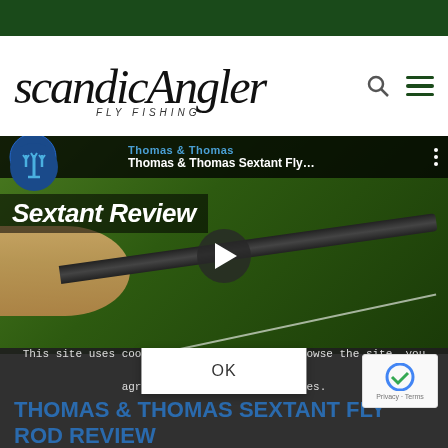[Figure (screenshot): ScandicAngler Fly Fishing website header with logo, search icon, and hamburger menu on white background with dark green top bar]
[Figure (screenshot): YouTube video thumbnail showing Thomas & Thomas Sextant Fly Rod Review — video title overlay, play button, fishing rod with cork grip on green background]
This site uses cookies. By continuing to browse the site, you are agreeing to our use of cookies.
THOMAS & THOMAS SEXTANT FLY ROD REVIEW
OK
Thomas & Thomas, Video, Video – Reviews, Video...